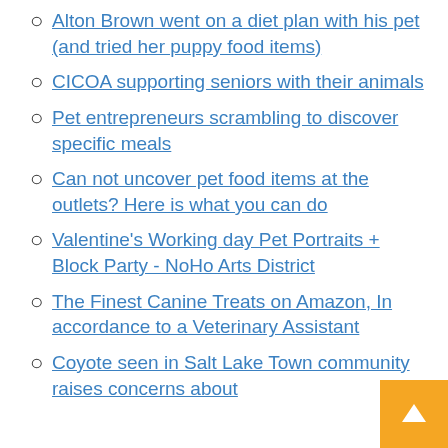Alton Brown went on a diet plan with his pet (and tried her puppy food items)
CICOA supporting seniors with their animals
Pet entrepreneurs scrambling to discover specific meals
Can not uncover pet food items at the outlets? Here is what you can do
Valentine's Working day Pet Portraits + Block Party - NoHo Arts District
The Finest Canine Treats on Amazon, In accordance to a Veterinary Assistant
Coyote seen in Salt Lake Town community raises concerns about